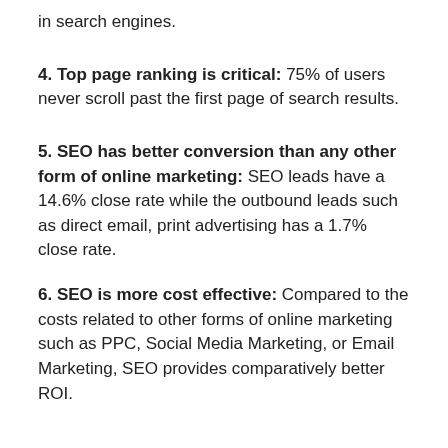in search engines.
4. Top page ranking is critical: 75% of users never scroll past the first page of search results.
5. SEO has better conversion than any other form of online marketing: SEO leads have a 14.6% close rate while the outbound leads such as direct email, print advertising has a 1.7% close rate.
6. SEO is more cost effective: Compared to the costs related to other forms of online marketing such as PPC, Social Media Marketing, or Email Marketing, SEO provides comparatively better ROI.